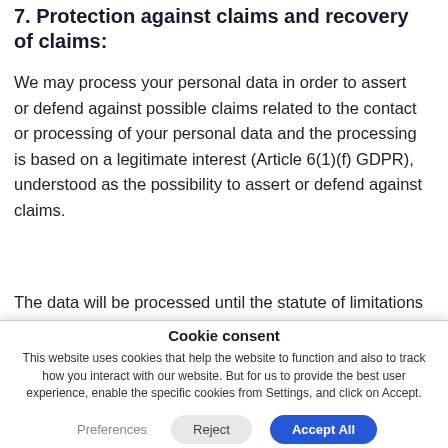7. Protection against claims and recovery of claims:
We may process your personal data in order to assert or defend against possible claims related to the contact or processing of your personal data and the processing is based on a legitimate interest (Article 6(1)(f) GDPR), understood as the possibility to assert or defend against claims.
The data will be processed until the statute of limitations for the respective claims has expired.
Technical Data
Cookie consent
This website uses cookies that help the website to function and also to track how you interact with our website. But for us to provide the best user experience, enable the specific cookies from Settings, and click on Accept.